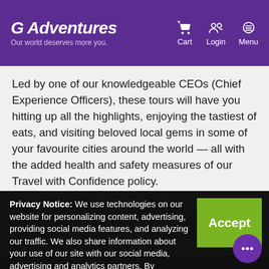G Adventures — Our world deserves more you. | Cart | Login | Menu
Led by one of our knowledgeable CEOs (Chief Experience Officers), these tours will have you hitting up all the highlights, enjoying the tastiest of eats, and visiting beloved local gems in some of your favourite cities around the world — all with the added health and safety measures of our Travel with Confidence policy.
Privacy Notice: We use technologies on our website for personalizing content, advertising, providing social media features, and analyzing our traffic. We also share information about your use of our site with our social media, advertising and analytics partners. By continuing to use this website, you consent to our use of this technology. You can control this through your Privacy Options.